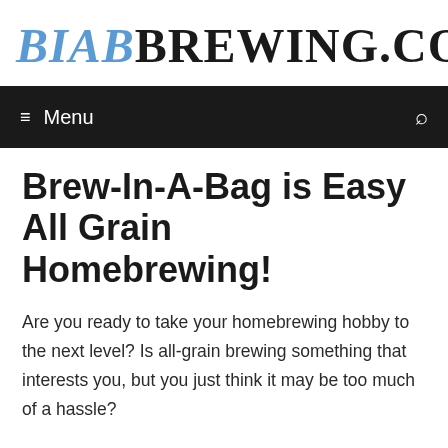BIABBREWING.COM
Brew-In-A-Bag is Easy All Grain Homebrewing!
Are you ready to take your homebrewing hobby to the next level? Is all-grain brewing something that interests you, but you just think it may be too much of a hassle?